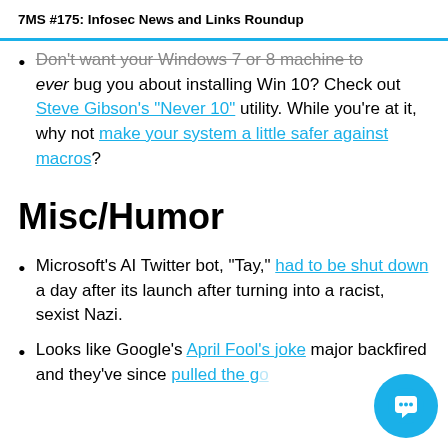7MS #175: Infosec News and Links Roundup
Don't want your Windows 7 or 8 machine to ever bug you about installing Win 10? Check out Steve Gibson's "Never 10" utility. While you're at it, why not make your system a little safer against macros?
Misc/Humor
Microsoft's AI Twitter bot, "Tay," had to be shut down a day after its launch after turning into a racist, sexist Nazi.
Looks like Google's April Fool's joke majorly backfired and they've since pulled the go...